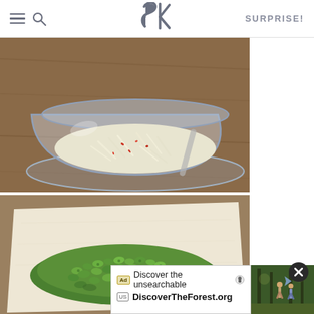SK — SURPRISE!
[Figure (photo): A glass bowl containing shredded or grated white/yellow ingredients (possibly cheese or potato) with small red pepper flakes, sitting on a wooden cutting board]
[Figure (photo): Chopped green asparagus pieces piled on white parchment/paper on a wooden surface]
[Figure (photo): Advertisement side image showing people hiking in a forest]
Ad — Discover the unsearchable — DiscoverTheForest.org